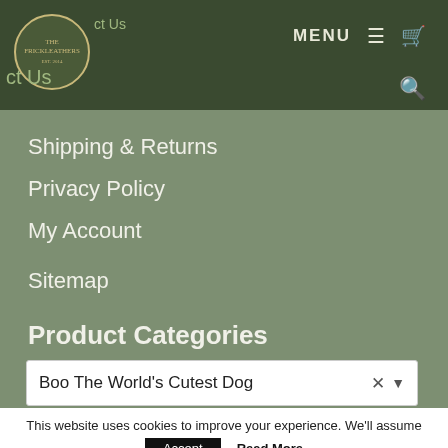MENU
Shipping & Returns
Privacy Policy
My Account
Sitemap
Product Categories
Boo The World's Cutest Dog
This website uses cookies to improve your experience. We'll assume you're ok with this, but you can opt-out if you wish.
Accept
Read More